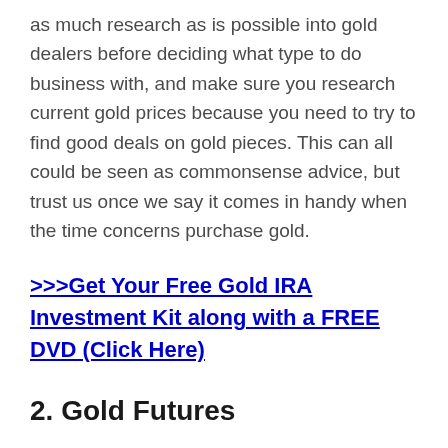as much research as is possible into gold dealers before deciding what type to do business with, and make sure you research current gold prices because you need to try to find good deals on gold pieces. This can all could be seen as commonsense advice, but trust us once we say it comes in handy when the time concerns purchase gold.
>>>Get Your Free Gold IRA Investment Kit along with a FREE DVD (Click Here)
2. Gold Futures